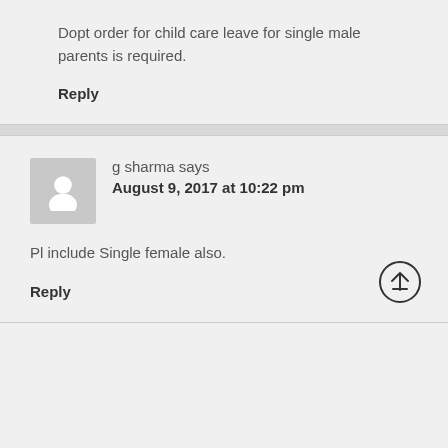Dopt order for child care leave for single male parents is required.
Reply
g sharma says August 9, 2017 at 10:22 pm
Pl include Single female also.
Reply